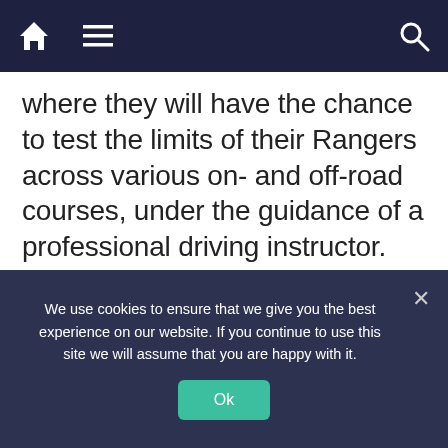Navigation bar with home, menu, and search icons
where they will have the chance to test the limits of their Rangers across various on- and off-road courses, under the guidance of a professional driving instructor. Expect water wading, jungle track driving, light rock climbing and more.
After the 4×4 experience, the convoy will
We use cookies to ensure that we give you the best experience on our website. If you continue to use this site we will assume that you are happy with it.